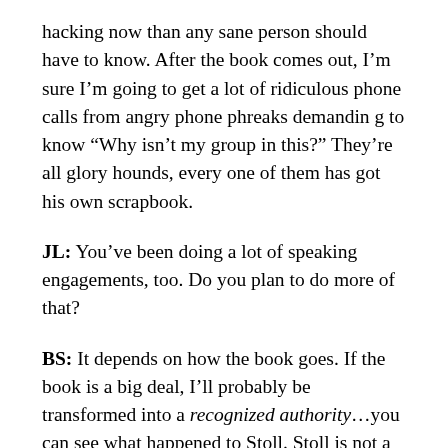hacking now than any sane person should have to know. After the book comes out, I'm sure I'm going to get a lot of ridiculous phone calls from angry phone phreaks demandin g to know “Why isn’t my group in this?” They’re all glory hounds, every one of them has got his own scrapbook.
JL: You’ve been doing a lot of speaking engagements, too. Do you plan to do more of that?
BS: It depends on how the book goes. If the book is a big deal, I’ll probably be transformed into a recognized authority…you can see what happened to Stoll. Stoll is not a real computer